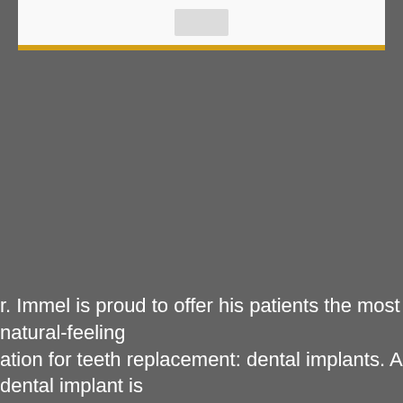[Figure (photo): Header area with a white box containing a faint logo placeholder, topped with a gold/amber horizontal bar, on a dark gray background.]
r. Immel is proud to offer his patients the most natural-feeling ation for teeth replacement: dental implants. A dental implant is